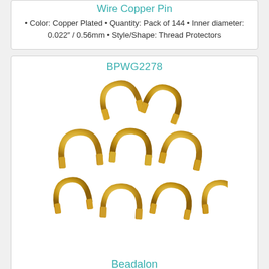Wire Copper Pin
• Color: Copper Plated • Quantity: Pack of 144 • Inner diameter: 0.022" / 0.56mm • Style/Shape: Thread Protectors
BPWG2278
[Figure (photo): Gold plated wire thread protector guards / guardians, U-shaped, multiple pieces scattered on white background]
Beadalon
$4.99
Sale: $4.24
Save: 15% off